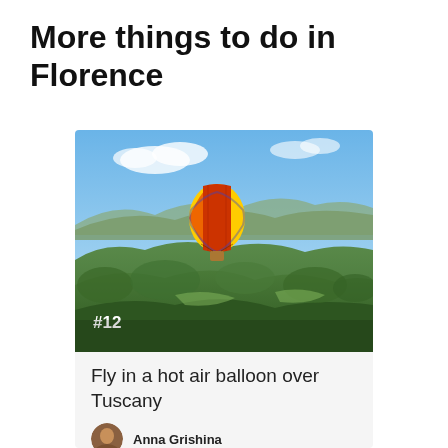More things to do in Florence
[Figure (photo): Aerial photograph of Tuscany rolling green hills and forests with a colorful hot air balloon floating in a blue sky, labeled #12 in the lower left corner]
Fly in a hot air balloon over Tuscany
Anna Grishina
Take a one-hour flight with a hot air baloon